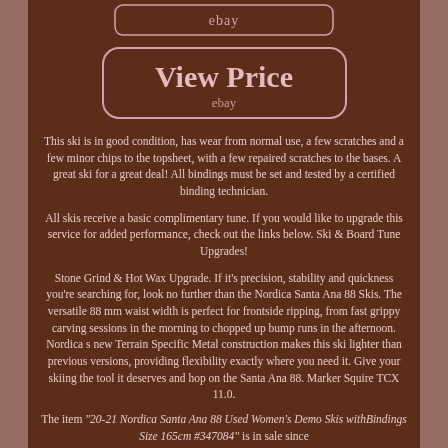[Figure (other): Small eBay button/badge with rounded rectangle border and text 'ebay']
[Figure (other): Large 'View Price' button with rounded rectangle border, large bold text 'View Price' and 'ebay' subtitle]
This ski is in good condition, has wear from normal use, a few scratches and a few minor chips to the topsheet, with a few repaired scratches to the bases. A great ski for a great deal! All bindings must be set and tested by a certified binding technician.
All skis receive a basic complimentary tune. If you would like to upgrade this service for added performance, check out the links below. Ski & Board Tune Upgrades!
Stone Grind & Hot Wax Upgrade. If it's precision, stability and quickness you're searching for, look no further than the Nordica Santa Ana 88 Skis. The versatile 88 mm waist width is perfect for frontside ripping, from fast grippy carving sessions in the morning to chopped up bump runs in the afternoon. Nordica s new Terrain Specific Metal construction makes this ski lighter than previous versions, providing flexibility exactly where you need it. Give your skiing the tool it deserves and hop on the Santa Ana 88. Marker Squire TCX 11.0.
The item "20-21 Nordica Santa Ana 88 Used Women's Demo Skis withBindings Size 165cm #347084" is in sale since